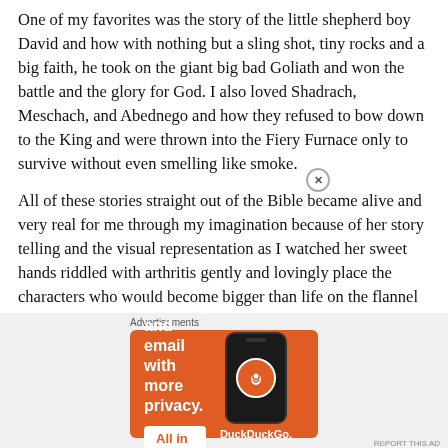One of my favorites was the story of the little shepherd boy David and how with nothing but a sling shot, tiny rocks and a big faith, he took on the giant big bad Goliath and won the battle and the glory for God. I also loved Shadrach, Meschach, and Abednego and how they refused to bow down to the King and were thrown into the Fiery Furnace only to survive without even smelling like smoke.
All of these stories straight out of the Bible became alive and very real for me through my imagination because of her story telling and the visual representation as I watched her sweet hands riddled with arthritis gently and lovingly place the characters who would become bigger than life on the flannel
Advertisements
[Figure (screenshot): DuckDuckGo advertisement on orange background showing 'Search, browse, and email with more privacy. All in One Free App' with phone mockup and DuckDuckGo logo]